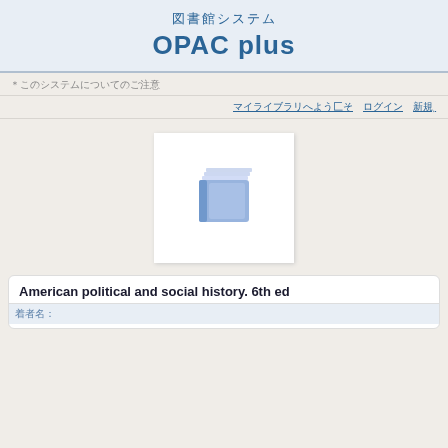図書館システム OPAC plus
※このシステムについてのご注意
マイライブラリへようこそ　ログイン　新規登録
[Figure (illustration): Book cover placeholder image showing a blue open book icon on white background]
American political and social history. 6th ed
著者名: